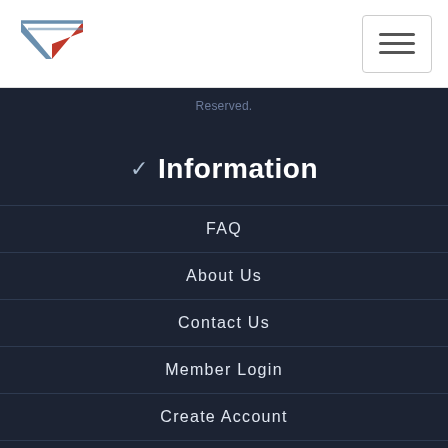[Figure (logo): Vectorvest logo - stylized V with blue and red colors]
[Figure (other): Hamburger menu button with three horizontal lines]
Reserved.
✓ Information
FAQ
About Us
Contact Us
Member Login
Create Account
⊕ Explore
Shop